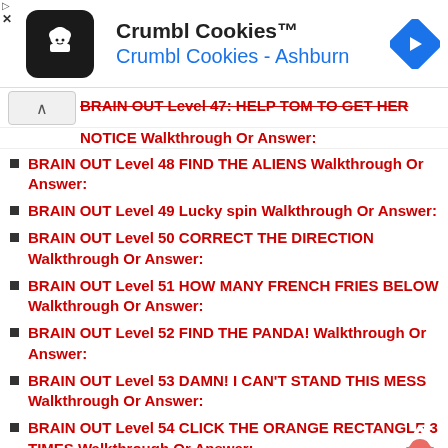[Figure (screenshot): Crumbl Cookies advertisement banner with logo, title, subtitle, and navigation arrow icon]
BRAIN OUT Level 47: HELP TOM TO GET HER NOTICE Walkthrough Or Answer:
BRAIN OUT Level 48 FIND THE ALIENS Walkthrough Or Answer:
BRAIN OUT Level 49 Lucky spin Walkthrough Or Answer:
BRAIN OUT Level 50 CORRECT THE DIRECTION Walkthrough Or Answer:
BRAIN OUT Level 51 HOW MANY FRENCH FRIES BELOW Walkthrough Or Answer:
BRAIN OUT Level 52 FIND THE PANDA! Walkthrough Or Answer:
BRAIN OUT Level 53 DAMN! I CAN'T STAND THIS MESS Walkthrough Or Answer:
BRAIN OUT Level 54 CLICK THE ORANGE RECTANGLE 3 TIMES Walkthrough Or Answer:
BRAIN OUT Level 57 AGAIN! WHO WOULD YOU SAVE Walkthrough Or Answer: